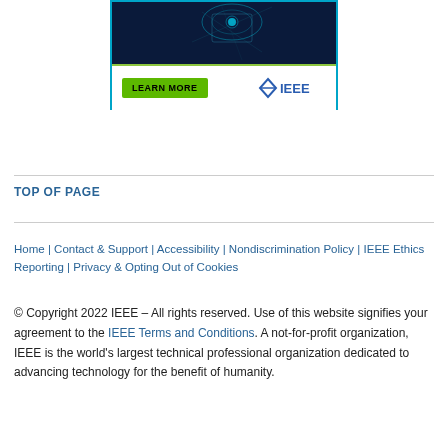[Figure (illustration): IEEE advertisement banner with dark blue top section showing glowing network graphic, green accent line, 'LEARN MORE' green button, and IEEE logo on white background]
TOP OF PAGE
Home | Contact & Support | Accessibility | Nondiscrimination Policy | IEEE Ethics Reporting | Privacy & Opting Out of Cookies
© Copyright 2022 IEEE – All rights reserved. Use of this website signifies your agreement to the IEEE Terms and Conditions. A not-for-profit organization, IEEE is the world's largest technical professional organization dedicated to advancing technology for the benefit of humanity.